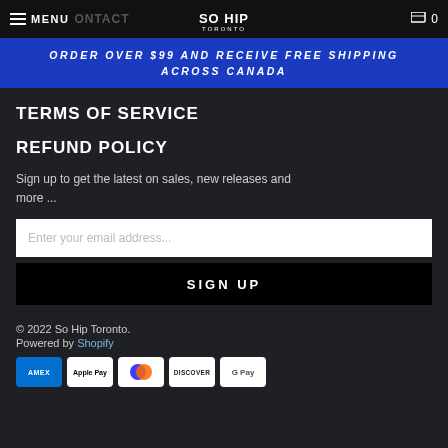MENU CONTACT [logo] 0
ORDER OVER $99 AND RECEIVE FREE SHIPPING ACROSS CANADA
TERMS OF SERVICE
REFUND POLICY
Sign up to get the latest on sales, new releases and more ...
Enter your email address...
SIGN UP
© 2022 So Hip Toronto.
Powered by Shopify